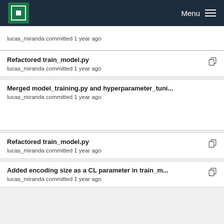MPCDF Menu
lucas_miranda committed 1 year ago
Refactored train_model.py
lucas_miranda committed 1 year ago
Merged model_training.py and hyperparameter_tuni...
lucas_miranda committed 1 year ago
Refactored train_model.py
lucas_miranda committed 1 year ago
Added encoding size as a CL parameter in train_m...
lucas_miranda committed 1 year ago